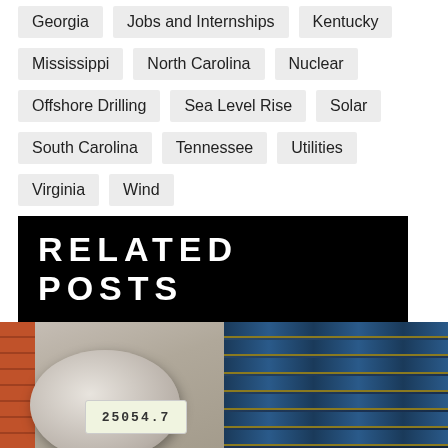Georgia
Jobs and Internships
Kentucky
Mississippi
North Carolina
Nuclear
Offshore Drilling
Sea Level Rise
Solar
South Carolina
Tennessee
Utilities
Virginia
Wind
RELATED POSTS
[Figure (photo): Electric utility meter mounted on brick wall, showing digital display reading]
[Figure (photo): Aerial view of solar panel array, rows of blue photovoltaic panels]